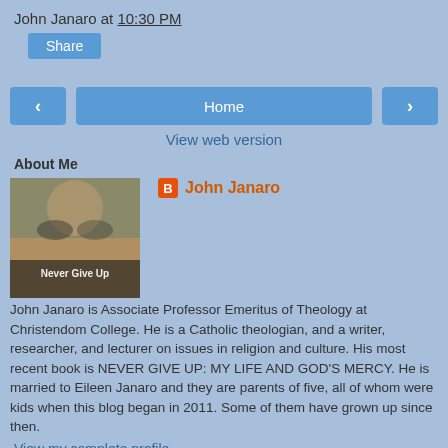John Janaro at 10:30 PM
Share
< Home >
View web version
About Me
John Janaro
John Janaro is Associate Professor Emeritus of Theology at Christendom College. He is a Catholic theologian, and a writer, researcher, and lecturer on issues in religion and culture. His most recent book is NEVER GIVE UP: MY LIFE AND GOD'S MERCY. He is married to Eileen Janaro and they are parents of five, all of whom were kids when this blog began in 2011. Some of them have grown up since then.
View my complete profile
Powered by Blogger.